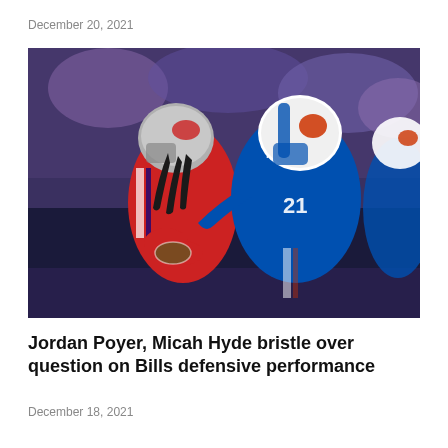December 20, 2021
[Figure (photo): NFL action photo showing a New England Patriots player being tackled by Buffalo Bills player Jordan Poyer (#21) in blue uniform during an NFL game. Players in blue Bills uniforms and red/white Patriots uniforms are visible.]
Jordan Poyer, Micah Hyde bristle over question on Bills defensive performance
December 18, 2021